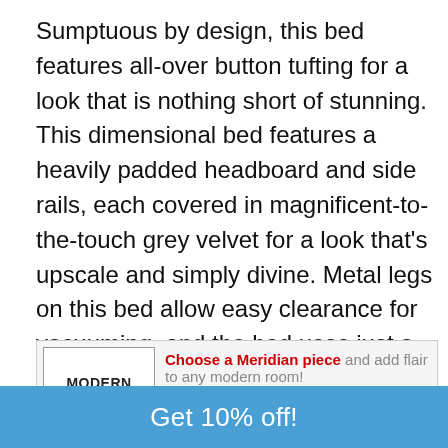Sumptuous by design, this bed features all-over button tufting for a look that is nothing short of stunning. This dimensional bed features a heavily padded headboard and side rails, each covered in magnificent-to-the-touch grey velvet for a look that's upscale and simply divine. Metal legs on this bed allow easy clearance for vacuuming, and the bed uses just a mattress, so there's no need for a box spring or foundation, which only adds to its sleek look.
[Figure (infographic): Modern Room Deco advertisement banner with logo on the left reading MODERN ROOM DECO, headline text 'Choose a Meridian piece and add flair to any modern room!' with subtext 'Unique, mid century solutions for the modern, minimalist home. Choose a uniquely crafted Meridian piece today and see the difference.']
Get 10% off!